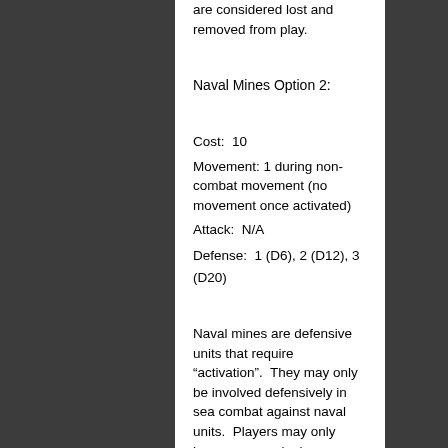are considered lost and removed from play.
Naval Mines Option 2:
Cost:  10
Movement: 1 during non-combat movement (no movement once activated)
Attack:  N/A
Defense:  1 (D6), 2 (D12), 3 (D20)
Naval mines are defensive units that require “activation”.  They may only be involved defensively in sea combat against naval units.  Players may only have one naval mine per territory.  For game play purposes, active naval mines protect the entire sea zone when defending. (Optional: Naval mines only protect against